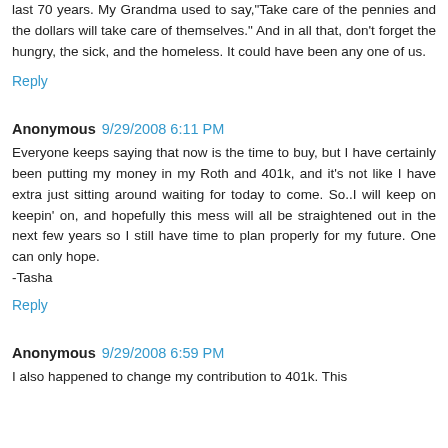last 70 years. My Grandma used to say,"Take care of the pennies and the dollars will take care of themselves." And in all that, don't forget the hungry, the sick, and the homeless. It could have been any one of us.
Reply
Anonymous 9/29/2008 6:11 PM
Everyone keeps saying that now is the time to buy, but I have certainly been putting my money in my Roth and 401k, and it's not like I have extra just sitting around waiting for today to come. So..I will keep on keepin' on, and hopefully this mess will all be straightened out in the next few years so I still have time to plan properly for my future. One can only hope.
-Tasha
Reply
Anonymous 9/29/2008 6:59 PM
I also happened to change my contribution to 401k. This